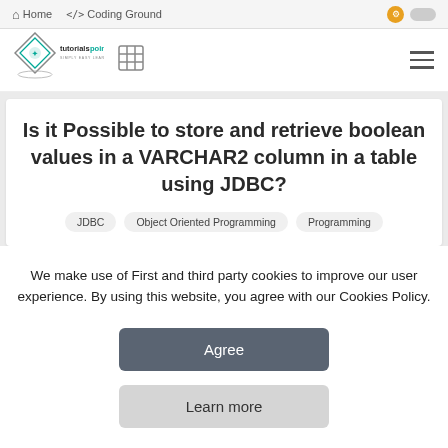Home  Coding Ground
[Figure (logo): tutorialspoint SIMPLY EASY LEARNING logo with diamond shape icon]
Is it Possible to store and retrieve boolean values in a VARCHAR2 column in a table using JDBC?
JDBC
Object Oriented Programming
Programming
We make use of First and third party cookies to improve our user experience. By using this website, you agree with our Cookies Policy.
Agree
Learn more